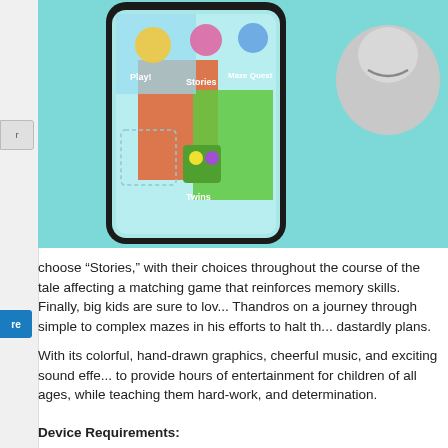[Figure (screenshot): Screenshot of an iPhone app showing a colorful game menu with options including Play!, Stories, Maze Quest, and Twins, with hand-drawn cartoon characters on a teal/colorful background.]
choose “Stories,” with their choices throughout the course of the tale affecting a matching game that reinforces memory skills. Finally, big kids are sure to love Thandros on a journey through simple to complex mazes in his efforts to halt the dastardly plans.
With its colorful, hand-drawn graphics, cheerful music, and exciting sound effects to provide hours of entertainment for children of all ages, while teaching them hard-work, and determination.
Device Requirements:
iPhone, iPod touch, and iPad
Requires iOS 3.0 or later (iOS 4.0 Tested)
41.0 MB
Pricing and Availability:
Fun With Thandros 1.0 is $0.99 USD and available worldwide exclusively thro...